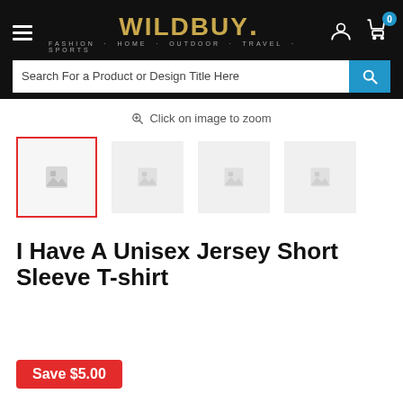[Figure (screenshot): WILDBUY website header with logo, hamburger menu, user icon, cart with badge 0, and search bar reading 'Search For a Product or Design Title Here']
Click on image to zoom
[Figure (screenshot): Four product thumbnail image placeholders in a row; the first one is selected with a red border]
I Have A Unisex Jersey Short Sleeve T-shirt
Save $5.00